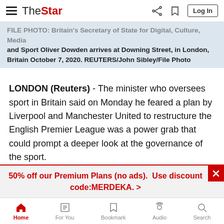The Star - navigation bar with logo, share, bookmark, and Log In
FILE PHOTO: Britain's Secretary of State for Digital, Culture, Media and Sport Oliver Dowden arrives at Downing Street, in London, Britain October 7, 2020. REUTERS/John Sibley/File Photo
LONDON (Reuters) - The minister who oversees sport in Britain said on Monday he feared a plan by Liverpool and Manchester United to restructure the English Premier League was a power grab that could prompt a deeper look at the governance of the sport.
The two clubs are backing a plan to radically change the Premier League's structure, giving more power to the big clubs, reducing it to 18 teams from 20 for the 2022-23 season, and
50% off our Premium Plans (no ads).  Use discount code:MERDEKA. >
Home  For You  Bookmark  Audio  Search